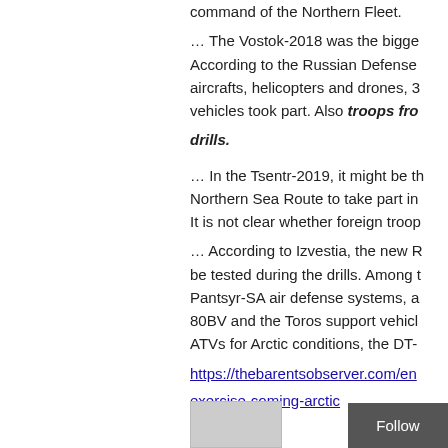command of the Northern Fleet. … The Vostok-2018 was the bigge... According to the Russian Defense... aircrafts, helicopters and drones, 3... vehicles took part. Also troops fro... drills. … In the Tsentr-2019, it might be th... Northern Sea Route to take part in... It is not clear whether foreign troop... … According to Izvestia, the new R... be tested during the drills. Among t... Pantsyr-SA air defense systems, a... 80BV and the Toros support vehicl... ATVs for Arctic conditions, the DT-...
https://thebarentsobserver.com/en... exercise-coming-arctic